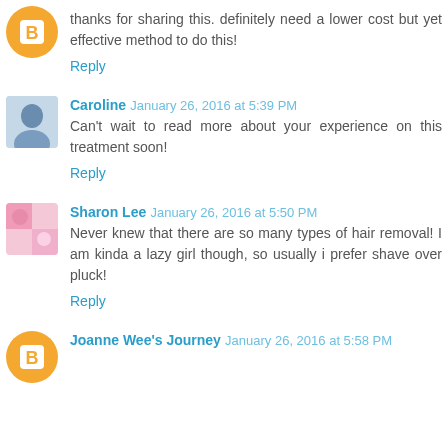thanks for sharing this. definitely need a lower cost but yet effective method to do this!
Reply
Caroline January 26, 2016 at 5:39 PM
Can't wait to read more about your experience on this treatment soon!
Reply
Sharon Lee January 26, 2016 at 5:50 PM
Never knew that there are so many types of hair removal! I am kinda a lazy girl though, so usually i prefer shave over pluck!
Reply
Joanne Wee's Journey January 26, 2016 at 5:58 PM